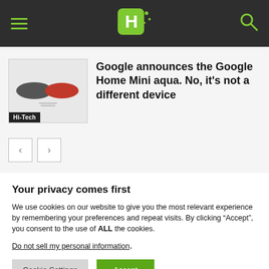Hi-Tech website header with hamburger menu, H logo, and search icon
[Figure (screenshot): Article thumbnail showing two Google Home Mini devices (one charcoal gray, one coral red) with Hi-Tech badge label]
Google announces the Google Home Mini aqua. No, it's not a different device
Your privacy comes first
We use cookies on our website to give you the most relevant experience by remembering your preferences and repeat visits. By clicking “Accept”, you consent to the use of ALL the cookies.
Do not sell my personal information.